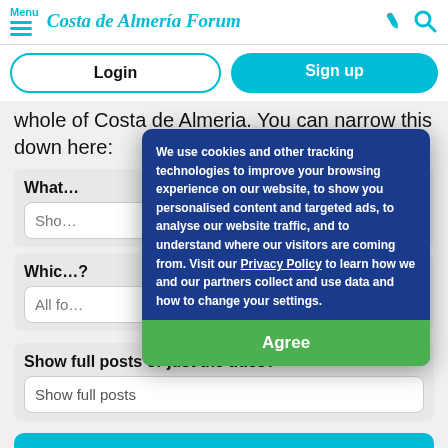Menu | Costa de Almeria Forum
Login
Sign up
whole of Costa de Almeria. You can narrow this down here:
We use cookies and other tracking technologies to improve your browsing experience on our website, to show you personalised content and targeted ads, to analyse our website traffic, and to understand where our visitors are coming from. Visit our Privacy Policy to learn how we and our partners collect and use data and how to change your settings.
Agree
What...
Show...
Which...?
All fo...
Show full posts or just the titles?
Show full posts
Show latest posts